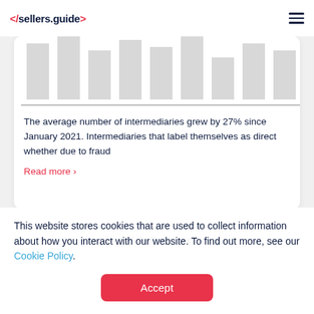</sellers.guide>
[Figure (bar-chart): Partial bar chart visible at top of card, bars in light gray with a baseline, cropped]
The average number of intermediaries grew by 27% since January 2021. Intermediaries that label themselves as direct whether due to fraud
Read more ›
Number of Sellers per Domain
This website stores cookies that are used to collect information about how you interact with our website. To find out more, see our Cookie Policy.
Accept